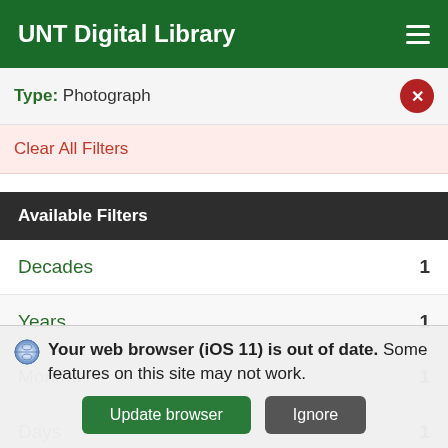UNT Digital Library
Type: Photograph
Clear All Filters
Available Filters
Decades  1
Years  1
Months  1
Days  1
Your web browser (iOS 11) is out of date. Some features on this site may not work.